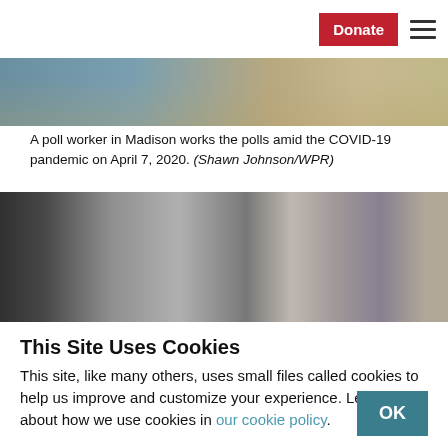Donate [hamburger menu]
[Figure (photo): Partial photo of a poll worker in Madison, showing legs/lower body area with sandy/rocky ground background]
A poll worker in Madison works the polls amid the COVID-19 pandemic on April 7, 2020. (Shawn Johnson/WPR)
[Figure (photo): Photo of a woman with gray hair and glasses near a dark vehicle, appearing to be a poll worker at a curbside voting location]
This Site Uses Cookies
This site, like many others, uses small files called cookies to help us improve and customize your experience. Learn more about how we use cookies in our cookie policy.